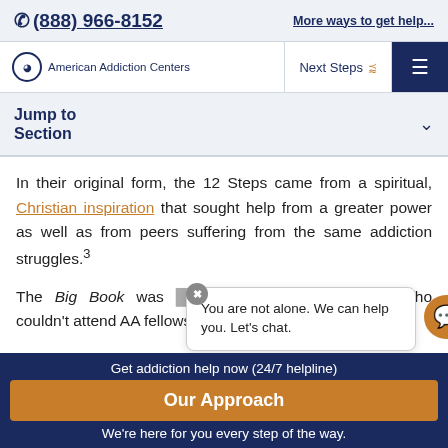(888) 966-8152   More ways to get help...
[Figure (screenshot): American Addiction Centers navigation bar with logo, Next Steps dropdown and hamburger menu]
Jump to Section
In their original form, the 12 Steps came from a spiritual, Christian inspiration that sought help from a greater power as well as from peers suffering from the same addiction struggles.3
The Big Book was [partially obscured] or people who couldn't attend AA fellowship meetings,
[Figure (screenshot): Chat popup overlay saying 'You are not alone. We can help you. Let's chat.' with close button and chat icon badge]
Get addiction help now (24/7 helpline)
Our Approach
We're here for you every step of the way.